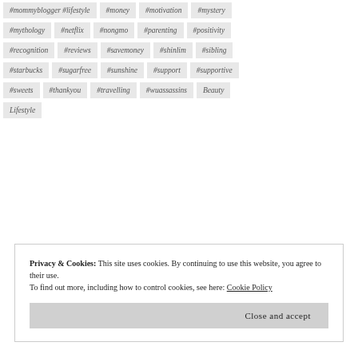#mommyblogger #lifestyle
#money
#motivation
#mystery
#mythology
#netflix
#nongmo
#parenting
#positivity
#recognition
#reviews
#savemoney
#shinlim
#sibling
#starbucks
#sugarfree
#sunshine
#support
#supportive
#sweets
#thankyou
#travelling
#wuassassins
Beauty
Lifestyle
Privacy & Cookies: This site uses cookies. By continuing to use this website, you agree to their use. To find out more, including how to control cookies, see here: Cookie Policy
Close and accept